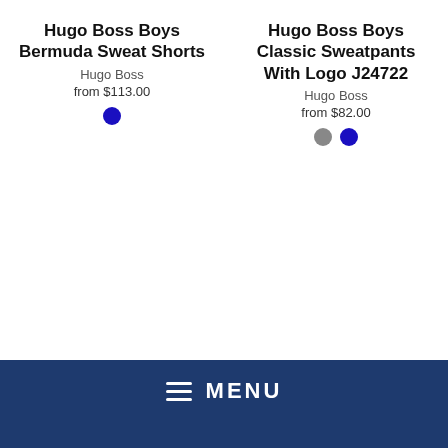Hugo Boss Boys Bermuda Sweat Shorts
Hugo Boss
from $113.00
Hugo Boss Boys Classic Sweatpants With Logo J24722
Hugo Boss
from $82.00
[Figure (other): Navigation menu bar with hamburger icon and MENU label on dark blue background]
with Logo J25N01
Hugo Boss
with Logo J25L97
Hugo Boss